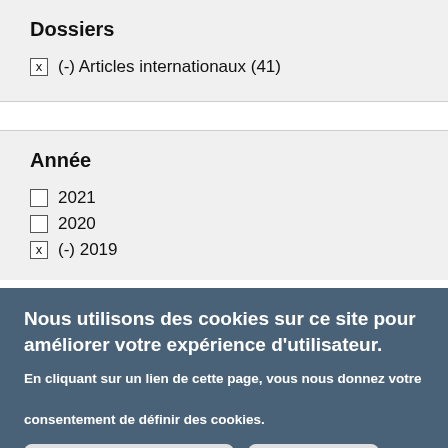Dossiers
x (-) Articles internationaux (41)
Année
2021
2020
x (-) 2019
Nous utilisons des cookies sur ce site pour améliorer votre expérience d'utilisateur.
En cliquant sur un lien de cette page, vous nous donnez votre consentement de définir des cookies.
2012
x (-) 2011